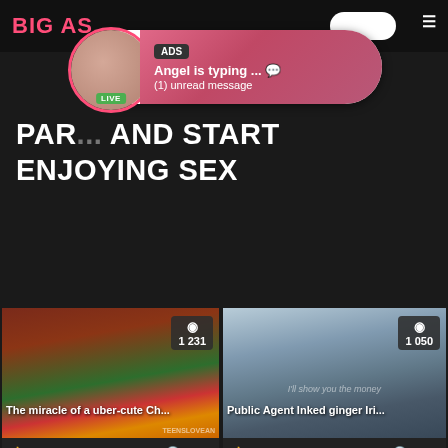BIG AS...
[Figure (screenshot): Ad popup notification: avatar with LIVE badge, 'ADS' label, 'Angel is typing ... (1) unread message' on pink-red gradient background]
PAR... AND START ENJOYING SEX
[Figure (screenshot): Video thumbnail left: Christmas scene, view count 1 231, title 'The miracle of a uber-cute Ch...', watermark TEENSLOVEAN, 84% likes, duration 12:29]
[Figure (screenshot): Video thumbnail right: outdoor winter scene girl, view count 1 050, title 'Public Agent Inked ginger Iri...', watermark logo, 73% likes, duration 13:17]